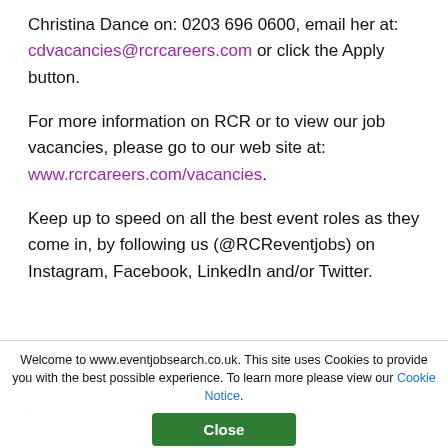Christina Dance on: 0203 696 0600, email her at: cdvacancies@rcrcareers.com or click the Apply button.
For more information on RCR or to view our job vacancies, please go to our web site at: www.rcrcareers.com/vacancies.
Keep up to speed on all the best event roles as they come in, by following us (@RCReventjobs) on Instagram, Facebook, LinkedIn and/or Twitter.
Welcome to www.eventjobsearch.co.uk. This site uses Cookies to provide you with the best possible experience. To learn more please view our Cookie Notice.